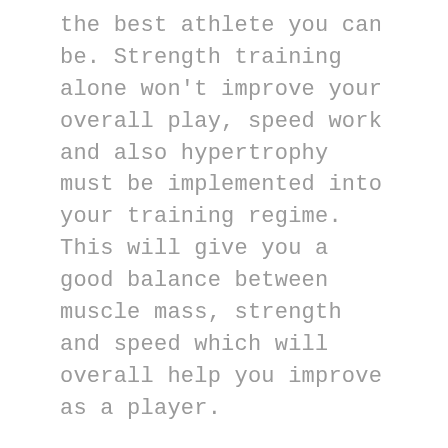the best athlete you can be. Strength training alone won't improve your overall play, speed work and also hypertrophy must be implemented into your training regime. This will give you a good balance between muscle mass, strength and speed which will overall help you improve as a player.
[Figure (photo): Broken image placeholder with alt text 'rugby training']